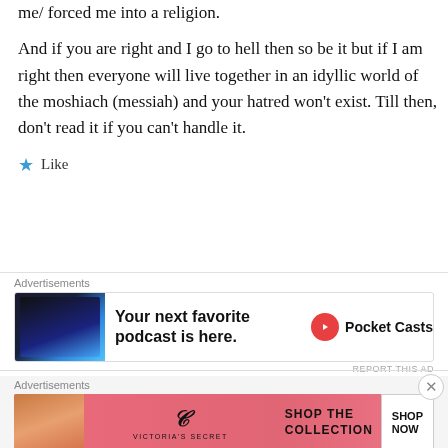me/ forced me into a religion.
And if you are right and I go to hell then so be it but if I am right then everyone will live together in an idyllic world of the moshiach (messiah) and your hatred won't exist. Till then, don't read it if you can't handle it.
★ Like
Advertisements
[Figure (screenshot): Advertisement banner for Pocket Casts podcast app showing app screenshot on left, bold text 'Your next favorite podcast is here.' in center, and Pocket Casts logo on right]
REPORT THIS AD
Advertisements
[Figure (screenshot): Advertisement banner for Victoria's Secret showing model on left, VS logo in center, 'SHOP THE COLLECTION' text, and 'SHOP NOW' button on right]